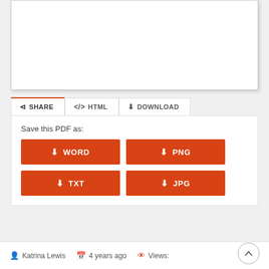[Figure (screenshot): White blank document preview area with shadow border]
SHARE   </> HTML   DOWNLOAD
Save this PDF as:
WORD
PNG
TXT
JPG
Katrina Lewis   4 years ago   Views: